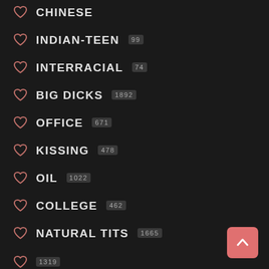CHINESE
INDIAN-TEEN 99
INTERRACIAL 74
BIG DICKS 1892
OFFICE 671
KISSING 478
OIL 1022
COLLEGE 462
NATURAL TITS 1665
1319